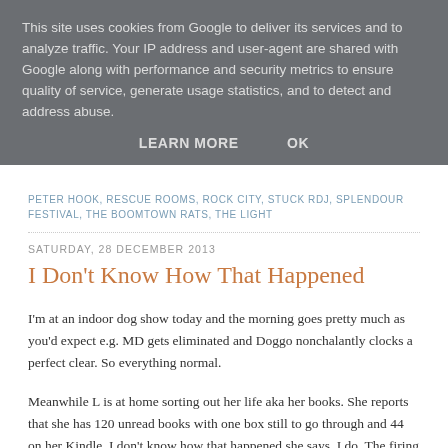This site uses cookies from Google to deliver its services and to analyze traffic. Your IP address and user-agent are shared with Google along with performance and security metrics to ensure quality of service, generate usage statistics, and to detect and address abuse.
LEARN MORE    OK
PETER HOOK, RESCUE ROOMS, ROCK CITY, STUCK RDJ, SPLENDOUR FESTIVAL, THE BOOMTOWN RATS, THE LIGHT
SATURDAY, 28 DECEMBER 2013
I Don't Know How That Happened
I'm at an indoor dog show today and the morning goes pretty much as you'd expect e.g. MD gets eliminated and Doggo nonchalantly clocks a perfect clear. So everything normal.
Meanwhile L is at home sorting out her life aka her books. She reports that she has 120 unread books with one box still to go through and 44 on her Kindle. I don't know how that happened she says. I do. The firing squad is booked for